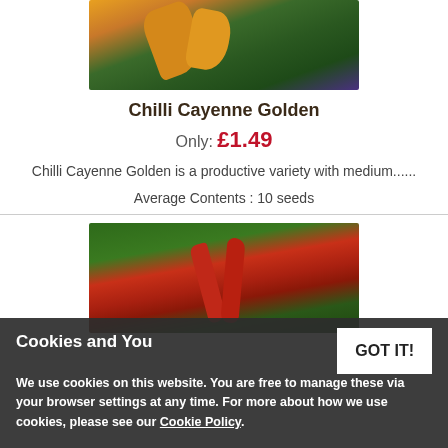[Figure (photo): Photo of golden/yellow chilli peppers on plant with dark green leaves]
Chilli Cayenne Golden
Only: £1.49
Chilli Cayenne Golden is a productive variety with medium......
Average Contents : 10 seeds
[Figure (photo): Photo of red cayenne chilli peppers hanging on a plant with green leaves]
Cookies and You
We use cookies on this website. You are free to manage these via your browser settings at any time. For more about how we use cookies, please see our Cookie Policy.